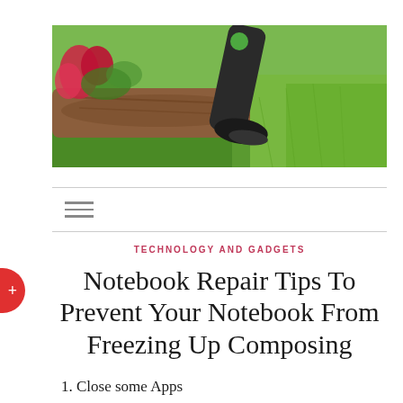[Figure (photo): Close-up photo of a lawn trimmer/edger being used near a garden bed with flowers and grass]
≡
TECHNOLOGY AND GADGETS
Notebook Repair Tips To Prevent Your Notebook From Freezing Up Composing
1. Close some Apps